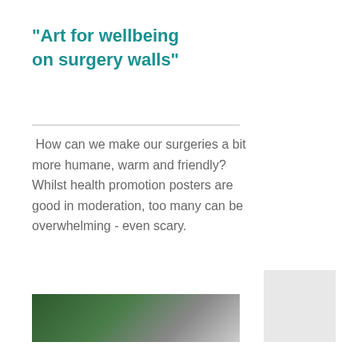"Art for wellbeing on surgery walls"
How can we make our surgeries a bit more humane, warm and friendly? Whilst health promotion posters are good in moderation, too many can be overwhelming - even scary.
[Figure (photo): Partial photo showing a green and grey surface, possibly a wall or artwork in a surgery setting]
[Figure (other): Grey square box, possibly a placeholder or decorative element]